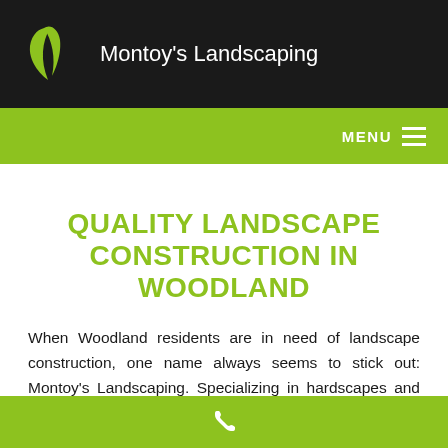Montoy's Landscaping
QUALITY LANDSCAPE CONSTRUCTION IN WOODLAND
When Woodland residents are in need of landscape construction, one name always seems to stick out: Montoy's Landscaping. Specializing in hardscapes and softscapes, Montoy's Landscaping has made a name for itself in the landscape construction business thanks to our commitment to quality and craftsmanship.